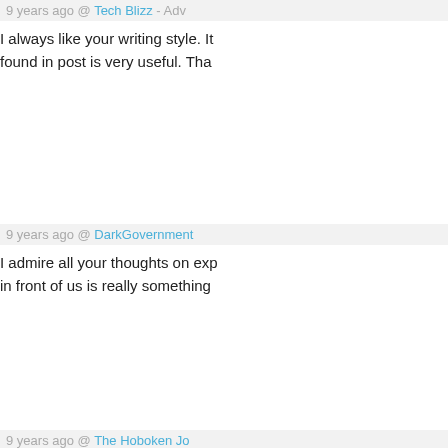9 years ago @ Tech Blizz - Adv...
I always like your writing style. It... found in post is very useful. Tha...
9 years ago @ DarkGovernment...
I admire all your thoughts on exp... in front of us is really something...
9 years ago @ The Hoboken Jo...
There some very impressive poi... interesting and moreover very in...
Laser surgery for eye
9 years ago @ A Voice of Sanity...
Hello,
The resource that you mentione... with such a nice blog post. Don't...
Laser surgery for eye
9 years ago @ War on Doctors /...